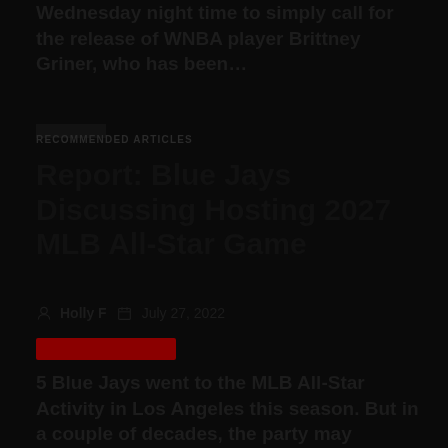Wednesday night time to simply call for the release of WNBA player Brittney Griner, who has been…
RECOMMENDED ARTICLES
Report: Blue Jays Discussing Hosting 2027 MLB All-Star Game
Holly F   July 27, 2022
5 Blue Jays went to the MLB All-Star Activity in Los Angeles this season. But in a couple of decades, the party may possibly be…